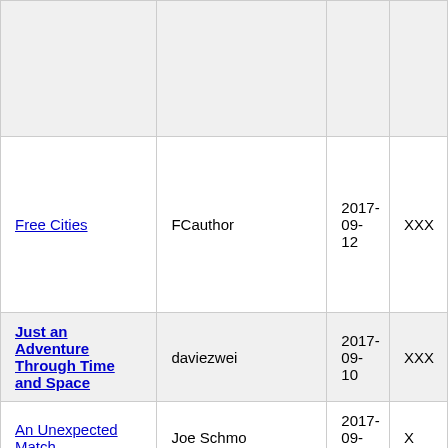|  |  |  |  |
| Free Cities | FCauthor | 2017-09-12 | XXX |
| Just an Adventure Through Time and Space | daviezwei | 2017-09-10 | XXX |
| An Unexpected Match | Joe Schmo | 2017-09-09 | X |
|  |  |  |  |